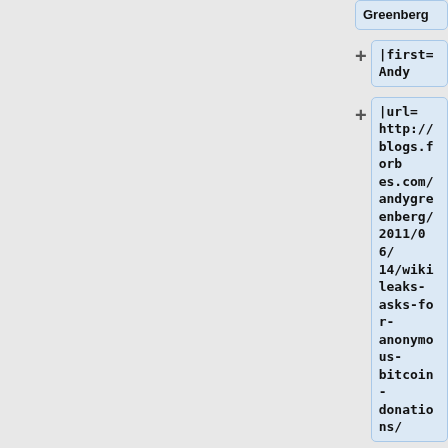Greenberg
|first= Andy
|url= http://blogs.forbes.com/andygreenberg/2011/06/14/wikileaks-asks-for-anonymous-bitcoin-donations/
|title= WikiLeaks Asks For Anonymous Bitcoin Donations – Andy Greenberg – The Firewall – Forbes